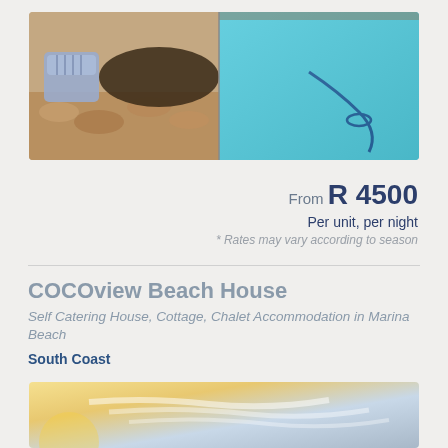[Figure (photo): Outdoor patio area with cushioned chair and swimming pool with blue water visible]
From R 4500
Per unit, per night
* Rates may vary according to season
COCOview Beach House
Self Catering House, Cottage, Chalet Accommodation in Marina Beach
South Coast
[Figure (other): Contact icons: phone and email]
[Figure (photo): Sunset/sky scenic photo at bottom of page]